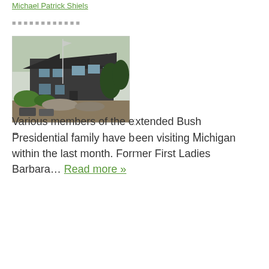Michael Patrick Shiels
author line / metadata
[Figure (photo): A large house or estate building with a flagpole, surrounded by trees and landscaping, photographed in daylight.]
Various members of the extended Bush Presidential family have been visiting Michigan within the last month. Former First Ladies Barbara... Read more »